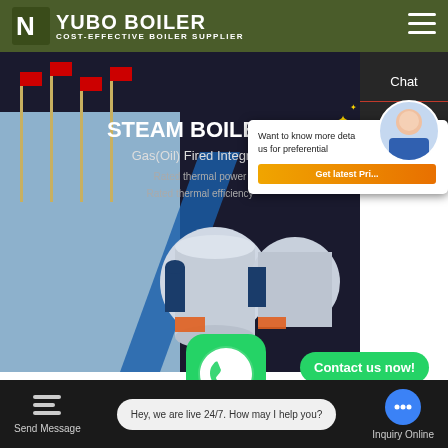YUBO BOILER – COST-EFFECTIVE BOILER SUPPLIER
[Figure (screenshot): Hero banner showing a boiler manufacturing facility with flags, and two large industrial steam boilers. Text reads: STEAM BOILER, Gas(Oil) Fired Integrated, Rated thermal power, Rated thermal efficiency. A customer service popup shows an agent and a button Get latest Pri...]
Chat
Email
Contact
Projects For Cob... For Boi...
Contact us now!
Contact us now!
Hey, we are live 24/7. How may I help you?
Send Message
Inquiry Online